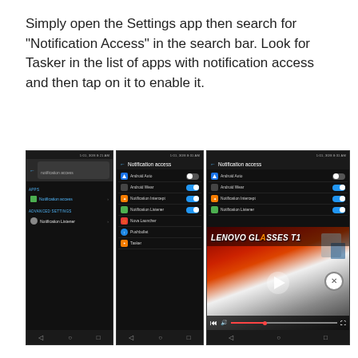Simply open the Settings app then search for “Notification Access” in the search bar. Look for Tasker in the list of apps with notification access and then tap on it to enable it.
[Figure (screenshot): Three Android phone screenshots showing Notification Access settings screen. Left panel shows search for 'notification access'. Middle panel shows full list of apps with notification access toggles (Android Auto off, Android Wear on, Notification Intercept on, Notification Listener on, Nova Launcher, Pushbullet, Tasker). Right panel shows same list partially obscured by a video overlay showing 'LENOVO GLASSES T1' with playback controls. A close button (X) appears at the right edge.]